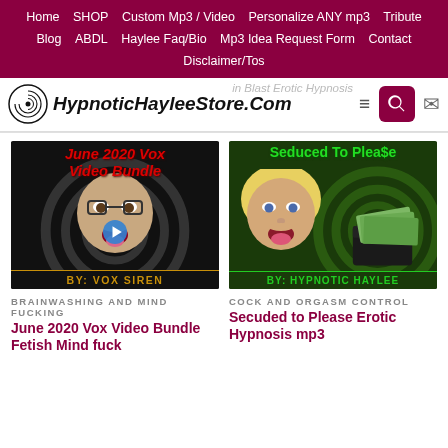Home  SHOP  Custom Mp3 / Video  Personalize ANY mp3  Tribute  Blog  ABDL  Haylee Faq/Bio  Mp3 Idea Request Form  Contact  Disclaimer/Tos
[Figure (screenshot): HypnoticHayleeStore.Com logo with spiral icon, hamburger menu, search button, and mail icon in header]
[Figure (photo): June 2020 Vox Video Bundle product thumbnail - dark background with red italic title text, woman's face, and 'BY: VOX SIREN' at bottom in gold]
[Figure (photo): Seduced to Please Erotic Hypnosis mp3 product thumbnail - dark green background with green title text 'Seduced To Plea$e', blonde woman's face, wallet with money, 'BY: HYPNOTIC HAYLEE' at bottom]
BRAINWASHING AND MIND FUCKING
June 2020 Vox Video Bundle Fetish Mind fuck
COCK AND ORGASM CONTROL
Secuded to Please Erotic Hypnosis mp3